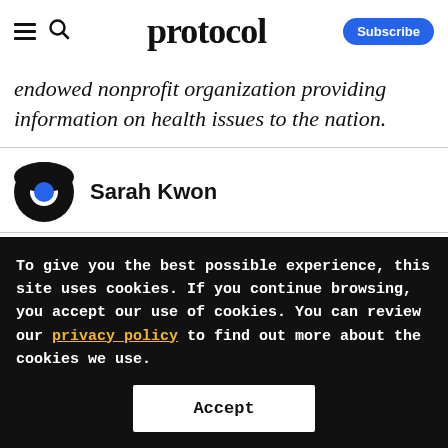protocol
endowed nonprofit organization providing information on health issues to the nation.
Sarah Kwon
TAGS:
Kaiser Health News
To give you the best possible experience, this site uses cookies. If you continue browsing, you accept our use of cookies. You can review our privacy policy to find out more about the cookies we use.
Accept